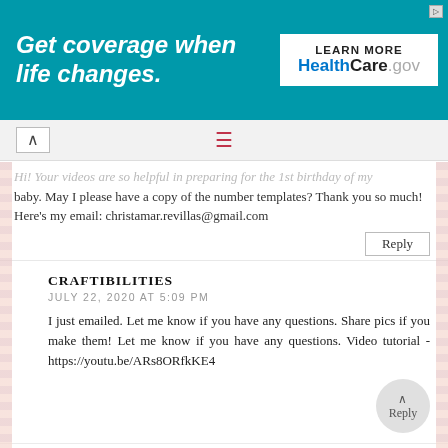[Figure (other): Advertisement banner for HealthCare.gov with teal background. Text: 'Get coverage when life changes.' and 'LEARN MORE HealthCare.gov']
Hi! Your videos are so helpful in preparing for the 1st birthday of my baby. May I please have a copy of the number templates? Thank you so much!
Here's my email: christamar.revillas@gmail.com
Reply
CRAFTIBILITIES
JULY 22, 2020 AT 5:09 PM
I just emailed. Let me know if you have any questions. Share pics if you make them! Let me know if you have any questions. Video tutorial - https://youtu.be/ARs8ORfkKE4
Reply
UNKNOWN
JULY 23, 2020 AT 12:51 PM